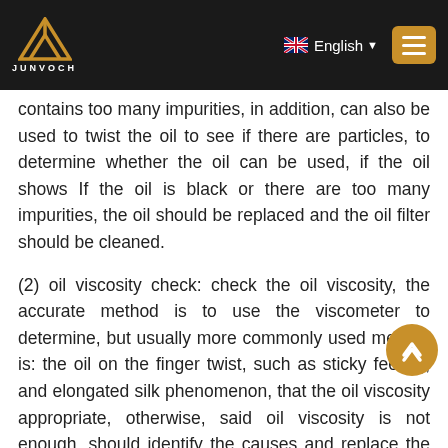[Figure (logo): JUNVOCH logo with gold triangle/mountain symbol on dark header bar, with English language selector and hamburger menu button]
contains too many impurities, in addition, can also be used to twist the oil to see if there are particles, to determine whether the oil can be used, if the oil shows If the oil is black or there are too many impurities, the oil should be replaced and the oil filter should be cleaned.
(2) oil viscosity check: check the oil viscosity, the accurate method is to use the viscometer to determine, but usually more commonly used method is: the oil on the finger twist, such as sticky feeling, and elongated silk phenomenon, that the oil viscosity appropriate, otherwise, said oil viscosity is not enough, should identify the causes and replace the oil.
5：Regular cleaning of lubrication system and oil